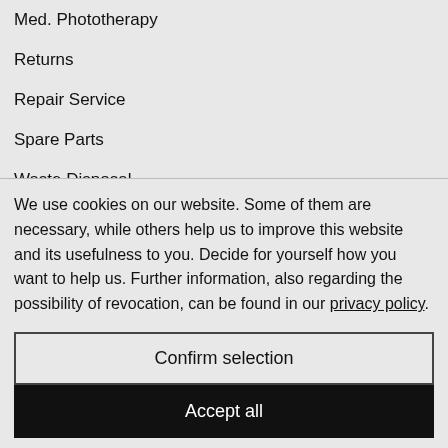Med. Phototherapy
Returns
Repair Service
Spare Parts
Waste Disposal
We use cookies on our website. Some of them are necessary, while others help us to improve this website and its usefulness to you. Decide for yourself how you want to help us. Further information, also regarding the possibility of revocation, can be found in our privacy policy.
Required (checked), Statistics (unchecked)
Confirm selection
Accept all